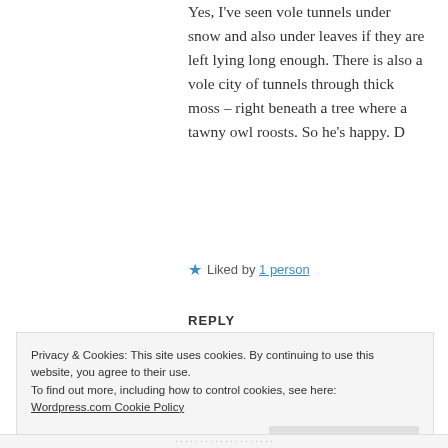Yes, I've seen vole tunnels under snow and also under leaves if they are left lying long enough. There is also a vole city of tunnels through thick moss – right beneath a tree where a tawny owl roosts. So he's happy. D
★ Liked by 1 person
REPLY
Privacy & Cookies: This site uses cookies. By continuing to use this website, you agree to their use.
To find out more, including how to control cookies, see here:
Wordpress.com Cookie Policy
Accept and Dismiss